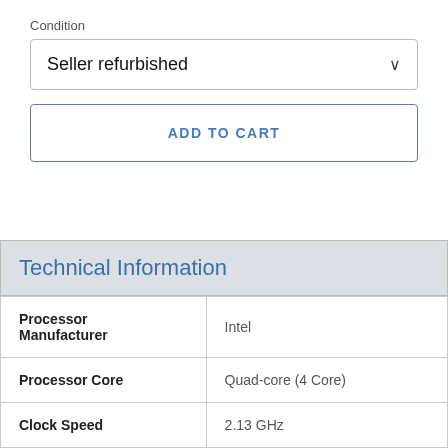Condition
Seller refurbished
ADD TO CART
| Technical Information |  |
| --- | --- |
| Processor Manufacturer | Intel |
| Processor Core | Quad-core (4 Core) |
| Clock Speed | 2.13 GHz |